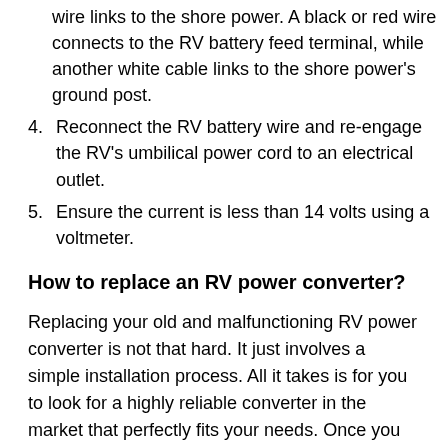wire links to the shore power. A black or red wire connects to the RV battery feed terminal, while another white cable links to the shore power's ground post.
4. Reconnect the RV battery wire and re-engage the RV's umbilical power cord to an electrical outlet.
5. Ensure the current is less than 14 volts using a voltmeter.
How to replace an RV power converter?
Replacing your old and malfunctioning RV power converter is not that hard. It just involves a simple installation process. All it takes is for you to look for a highly reliable converter in the market that perfectly fits your needs. Once you have the new converter, installing it will be easy.